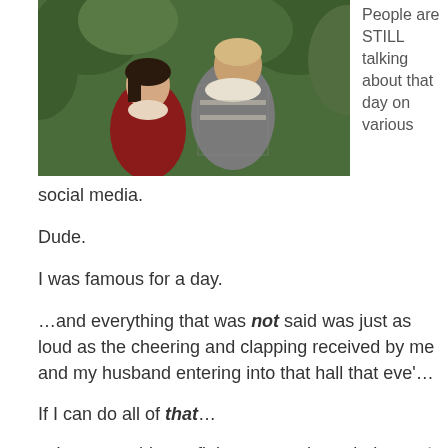[Figure (photo): Photo of two people dressed in medieval/Renaissance costumes standing in front of green foliage. A woman with dark hair in a red dress and a man in chainmail armor.]
People are STILL talking about that day on various social media.
Dude.
I was famous for a day.
…and everything that was not said was just as loud as the cheering and clapping received by me and my husband entering into that hall that eve'…
If I can do all of that…
…I sure as shit can fight my way through the rest of these challenges...